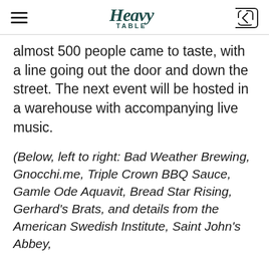Heavy Table
almost 500 people came to taste, with a line going out the door and down the street. The next event will be hosted in a warehouse with accompanying live music.
(Below, left to right: Bad Weather Brewing, Gnocchi.me, Triple Crown BBQ Sauce, Gamle Ode Aquavit, Bread Star Rising, Gerhard's Brats, and details from the American Swedish Institute, Saint John's Abbey,